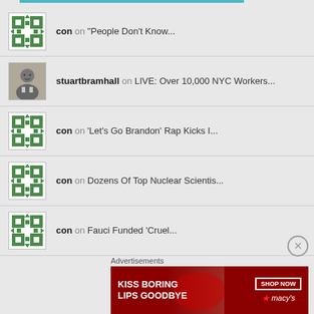con on "People Don't Know..."
stuartbramhall on LIVE: Over 10,000 NYC Workers...
con on 'Let's Go Brandon' Rap Kicks I...
con on Dozens Of Top Nuclear Scientis...
con on Fauci Funded 'Cruel...
Advertisements
[Figure (photo): Advertisement banner: KISS BORING LIPS GOODBYE with SHOP NOW and macys logo on dark red background]